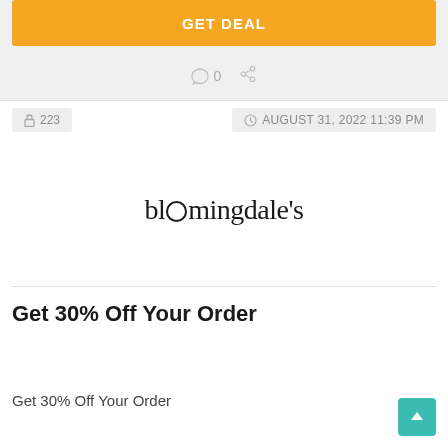GET DEAL
0
223
AUGUST 31, 2022 11:39 PM
[Figure (logo): bloomingdale's logo in serif font]
Get 30% Off Your Order
Get 30% Off Your Order